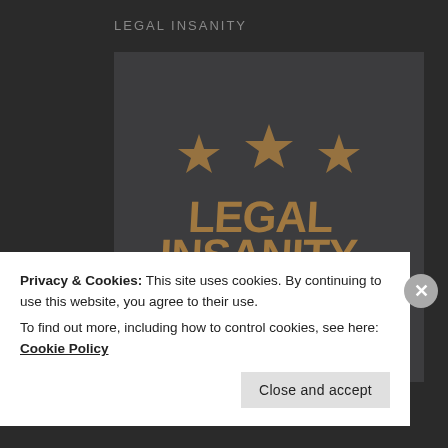LEGAL INSANITY
[Figure (logo): Legal Insanity Clothing logo with three stars above bold text reading 'LEGAL INSANITY', below which is 'CLOTHING' flanked by double horizontal lines, and beneath that '100% ★ Original' in script, all in bronze/gold tones on a dark grey background.]
Privacy & Cookies: This site uses cookies. By continuing to use this website, you agree to their use.
To find out more, including how to control cookies, see here: Cookie Policy
Close and accept